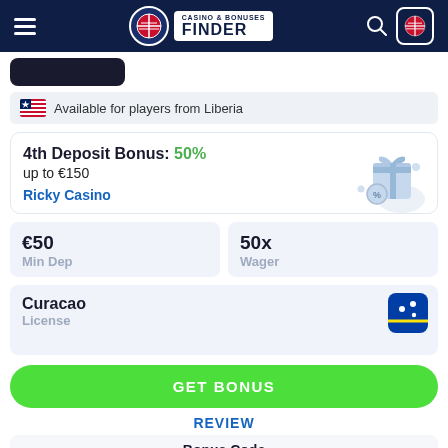Casino & Bonuses Finder
Available for players from Liberia
4th Deposit Bonus: 50% up to €150 — Ricky Casino
€50 Min Dep
50x Wager
Curacao License
GET BONUS
REVIEW
Bonus Code: Not Required